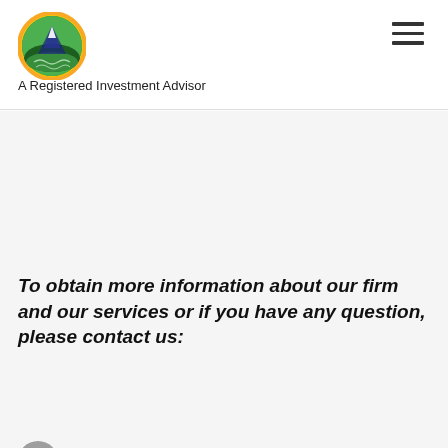[Figure (logo): Oval logo with mountain and water scene in green and yellow]
A Registered Investment Advisor
To obtain more information about our firm and our services or if you have any question, please contact us:
101 Church St, Suite 25, Los Gatos, CA 95030
Tel: 408-689-2509